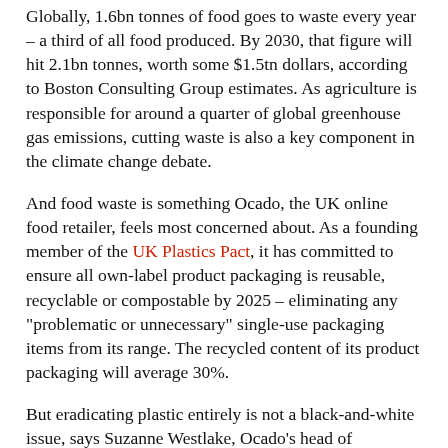Globally, 1.6bn tonnes of food goes to waste every year – a third of all food produced. By 2030, that figure will hit 2.1bn tonnes, worth some $1.5tn dollars, according to Boston Consulting Group estimates. As agriculture is responsible for around a quarter of global greenhouse gas emissions, cutting waste is also a key component in the climate change debate.
And food waste is something Ocado, the UK online food retailer, feels most concerned about. As a founding member of the UK Plastics Pact, it has committed to ensure all own-label product packaging is reusable, recyclable or compostable by 2025 – eliminating any "problematic or unnecessary" single-use packaging items from its range. The recycled content of its product packaging will average 30%.
But eradicating plastic entirely is not a black-and-white issue, says Suzanne Westlake, Ocado's head of corporate